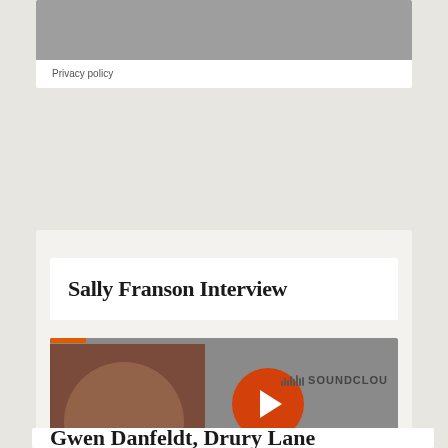[Figure (screenshot): Top partially visible card with grey media player area and Privacy policy label]
Privacy policy
Sally Franson Interview
[Figure (screenshot): SoundCloud embedded player with orange play button, Play on SoundCloud orange button, Listen in browser dark button, and Privacy policy label]
Play on SoundCloud
Listen in browser
Privacy policy
Gwen Danfeldt, Drury Lane